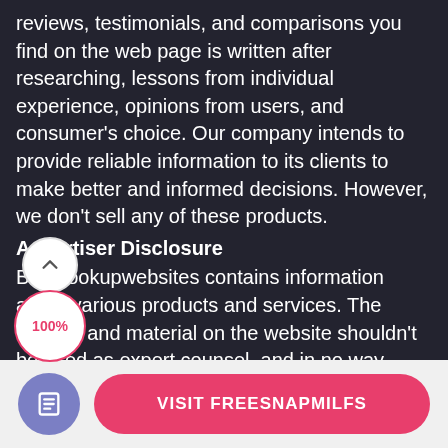reviews, testimonials, and comparisons you find on the web page is written after researching, lessons from individual experience, opinions from users, and consumer's choice. Our company intends to provide reliable information to its clients to make better and informed decisions. However, we don't sell any of these products.
Advertiser Disclosure
Besthookupwebsites contains information about various products and services. The content and material on the website shouldn't be used as expert counsel, and in no way should our consumers treat it as such. Some of this content may be sponsored; you read the advertiser disclosure for comprehensive details.
[Figure (other): Scroll-to-top circular button with upward chevron arrow, white background]
[Figure (other): 100% badge circle with pink border and pink text reading 100%]
[Figure (other): Purple circular icon button with document/list icon]
[Figure (other): Pink rounded rectangle button labeled VISIT FREESNAPMILFS]